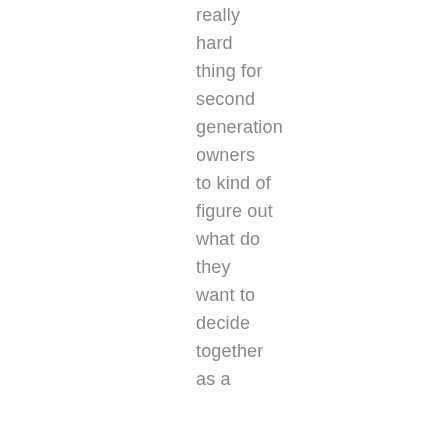really
hard
thing for
second
generation
owners
to kind of
figure out
what do
they
want to
decide
together
as a